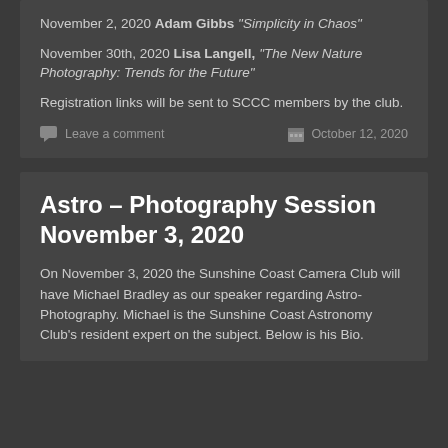November 2, 2020 Adam Gibbs “Simplicity in Chaos”
November 30th, 2020 Lisa Langell, “The New Nature Photography: Trends for the Future”
Registration links will be sent to SCCC members by the club.
Leave a comment
October 12, 2020
Astro – Photography Session November 3, 2020
On November 3, 2020 the Sunshine Coast Camera Club will have Michael Bradley as our speaker regarding Astro-Photography. Michael is the Sunshine Coast Astronomy Club’s resident expert on the subject. Below is his Bio.